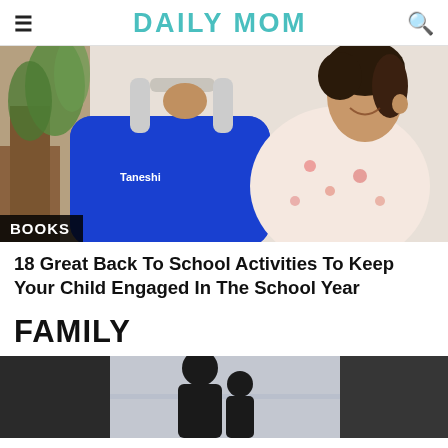DAILY MOM
[Figure (photo): A young girl smiling and holding up a blue Taneshi branded bag/lunchbox, with a plant and wooden furniture in the background. A BOOKS label overlay appears at the bottom left.]
18 Great Back To School Activities To Keep Your Child Engaged In The School Year
FAMILY
[Figure (photo): A dark silhouette of an adult and child looking out a bright window together.]